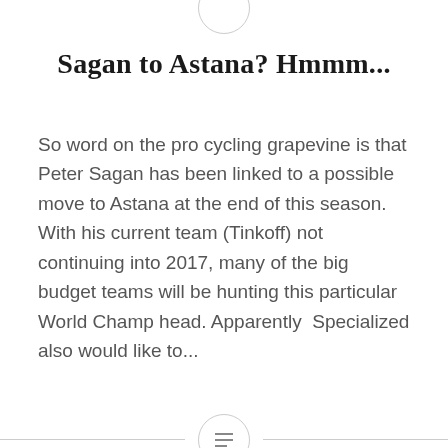Sagan to Astana? Hmmm...
So word on the pro cycling grapevine is that Peter Sagan has been linked to a possible move to Astana at the end of this season. With his current team (Tinkoff) not continuing into 2017, many of the big budget teams will be hunting this particular World Champ head. Apparently  Specialized also would like to...
READ MORE